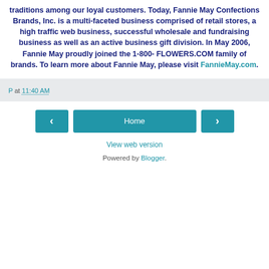traditions among our loyal customers. Today, Fannie May Confections Brands, Inc. is a multi-faceted business comprised of retail stores, a high traffic web business, successful wholesale and fundraising business as well as an active business gift division. In May 2006, Fannie May proudly joined the 1-800-FLOWERS.COM family of brands. To learn more about Fannie May, please visit FannieMay.com.
P at 11:40 AM
< Home >
View web version
Powered by Blogger.